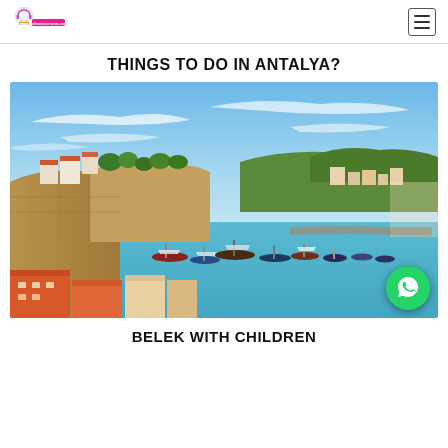onlineexcursions.com
THINGS TO DO IN ANTALYA?
[Figure (photo): Aerial view of Antalya old town harbour with ancient stone walls, boats and yachts moored in a turquoise bay, surrounded by lush green trees and terracotta-roofed buildings under a blue sky with wispy clouds.]
BELEK WITH CHILDREN